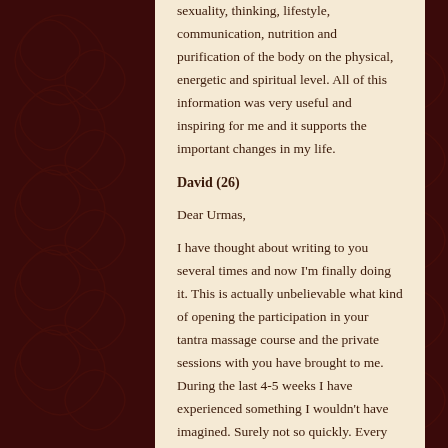sexuality, thinking, lifestyle, communication, nutrition and purification of the body on the physical, energetic and spiritual level. All of this information was very useful and inspiring for me and it supports the important changes in my life.
David (26)
Dear Urmas,
I have thought about writing to you several times and now I'm finally doing it. This is actually unbelievable what kind of opening the participation in your tantra massage course and the private sessions with you have brought to me. During the last 4-5 weeks I have experienced something I wouldn't have imagined. Surely not so quickly. Every